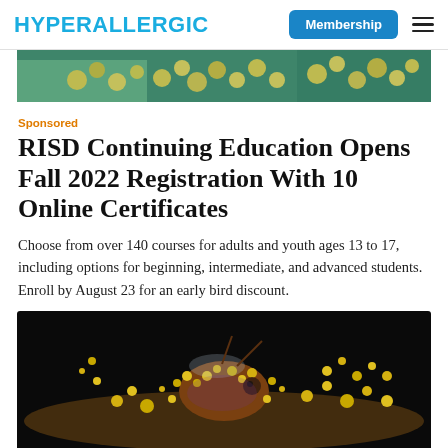HYPERALLERGIC | Membership
[Figure (photo): Top cropped image showing colorful flowers and green background, partially visible at top of page]
Sponsored
RISD Continuing Education Opens Fall 2022 Registration With 10 Online Certificates
Choose from over 140 courses for adults and youth ages 13 to 17, including options for beginning, intermediate, and advanced students. Enroll by August 23 for an early bird discount.
[Figure (photo): Close-up macro photograph of a bee covered in yellow pollen on a dark background]